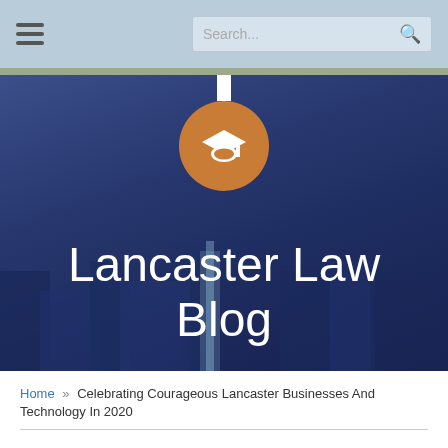Lancaster Law Blog — navigation header with hamburger menu and search bar
[Figure (screenshot): Lancaster Law Blog hero banner with dark blue background showing abstract building imagery, orange circular logo with white mortar-board icon, and white text 'Lancaster Law Blog']
Home » Celebrating Courageous Lancaster Businesses And Technology In 2020
Celebrating Courageous